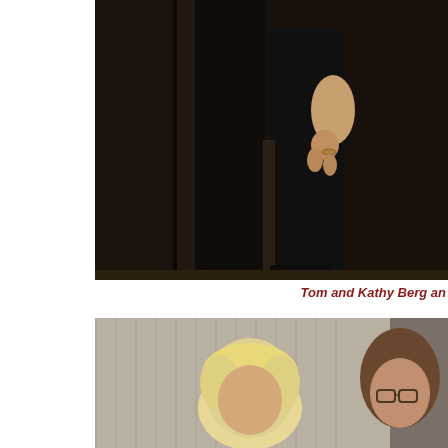[Figure (photo): Cropped photo showing lower body of a person dressed in black, standing near dark panels/doors, with a hand visible at the side. Indoor event setting.]
Tom and Kathy Berg an
[Figure (photo): Photo of two people seated or standing against a neutral grey/tan striped wallpaper background. One person has blonde hair, the other has brown hair and glasses. Indoor setting.]